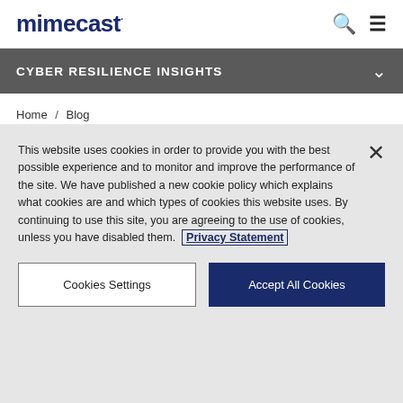mimecast
CYBER RESILIENCE INSIGHTS
Home / Blog / 4 Essential Requirements To Protect Against Brand Exploits
This website uses cookies in order to provide you with the best possible experience and to monitor and improve the performance of the site. We have published a new cookie policy which explains what cookies are and which types of cookies this website uses. By continuing to use this site, you are agreeing to the use of cookies, unless you have disabled them. Privacy Statement
Cookies Settings | Accept All Cookies